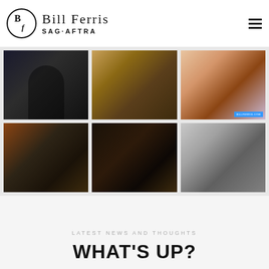[Figure (logo): Bill Ferris SAG-AFTRA logo with circular BF monogram and serif text]
[Figure (photo): Grid of six actor headshots/scene photos in two rows of three]
LATEST NEWS AND THOUGHTS
WHAT'S UP?